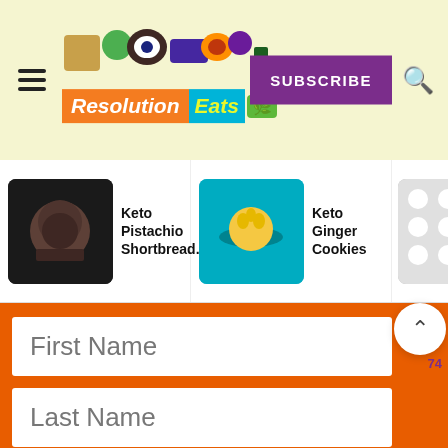[Figure (screenshot): Website header for Resolution Eats with hamburger menu, logo, Subscribe button, and search icon on a light yellow background]
[Figure (screenshot): Horizontal scroll navigation showing three keto recipe items: Keto Pistachio Shortbread, Keto Ginger Cookies, Keto Pecan Snowball Cookies with thumbnail images]
First Name
Last Name
E-mail Address
SUBSCRIBE
[Figure (screenshot): Floating action buttons: up chevron, heart/like with 74 counter, and purple search button on the right side of the orange subscribe form]
[Figure (screenshot): Bottom grey bar with close X button]